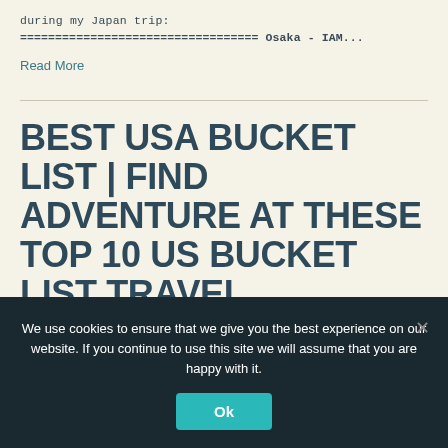during my Japan trip:
================================== Osaka - IAM...
Read More
BEST USA BUCKET LIST | FIND ADVENTURE AT THESE TOP 10 US BUCKET LIST TRAVEL
We use cookies to ensure that we give you the best experience on our website. If you continue to use this site we will assume that you are happy with it.